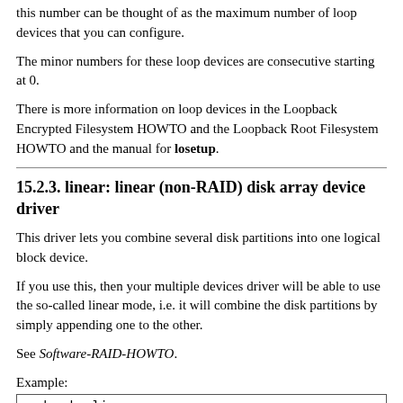this number can be thought of as the maximum number of loop devices that you can configure.
The minor numbers for these loop devices are consecutive starting at 0.
There is more information on loop devices in the Loopback Encrypted Filesystem HOWTO and the Loopback Root Filesystem HOWTO and the manual for losetup.
15.2.3. linear: linear (non-RAID) disk array device driver
This driver lets you combine several disk partitions into one logical block device.
If you use this, then your multiple devices driver will be able to use the so-called linear mode, i.e. it will combine the disk partitions by simply appending one to the other.
See Software-RAID-HOWTO.
Example:
modprobe linear